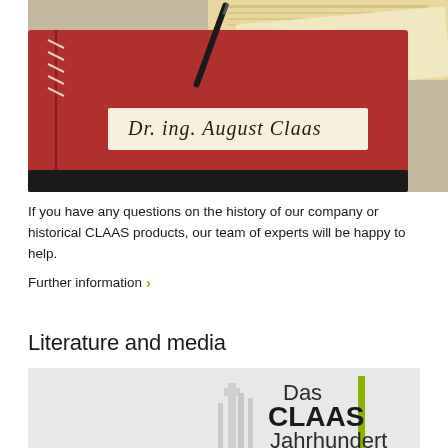[Figure (photo): Close-up photo of a red leather binder/notebook with a label reading 'Dr. ing. August Claas' in cursive script, a black pen resting on top, and papers/newspapers in the background.]
If you have any questions on the history of our company or historical CLAAS products, our team of experts will be happy to help.
Further information ›
Literature and media
[Figure (photo): Partial view of a book cover showing 'Das CLAAS Jahrhundert' text with a green vertical bar accent and a faint city/industrial skyline in the background.]